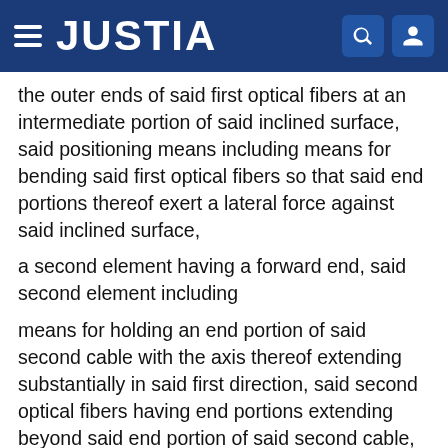JUSTIA
the outer ends of said first optical fibers at an intermediate portion of said inclined surface, said positioning means including means for bending said first optical fibers so that said end portions thereof exert a lateral force against said inclined surface,
a second element having a forward end, said second element including
means for holding an end portion of said second cable with the axis thereof extending substantially in said first direction, said second optical fibers having end portions extending beyond said end portion of said second cable,
and positioning means for positioning said second optical fibers so that the outer parts of said end portions of said second optical fibers project beyond said forward end of said second element